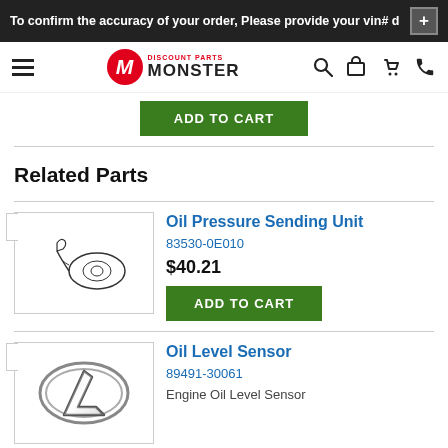To confirm the accuracy of your order, Please provide your vin# d
[Figure (logo): Discount Parts Monster logo with red M circle and hamburger menu, search, cart, phone icons]
ADD TO CART
Related Parts
[Figure (illustration): Oil Pressure Sending Unit part sketch line drawing]
Oil Pressure Sending Unit
83530-0E010
$40.21
ADD TO CART
[Figure (logo): Lexus logo - silver L emblem in oval]
Oil Level Sensor
89491-30061
Engine Oil Level Sensor